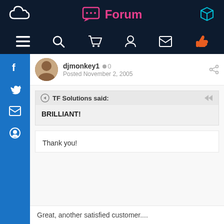Forum
djmonkey1  0
Posted November 2, 2005
TF Solutions said:
BRILLIANT!
Thank you!
Great, another satisfied customer....